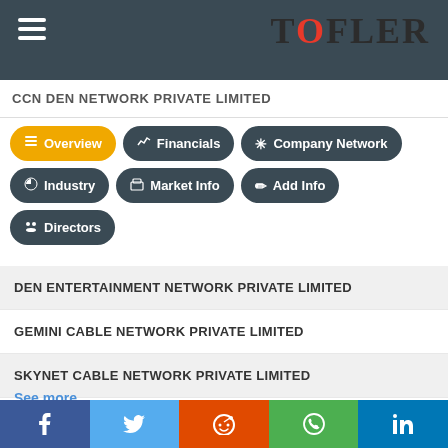TOFLER — CCN DEN NETWORK PRIVATE LIMITED
Overview
Financials
Company Network
Industry
Market Info
Add Info
Directors
DEN ENTERTAINMENT NETWORK PRIVATE LIMITED
GEMINI CABLE NETWORK PRIVATE LIMITED
SKYNET CABLE NETWORK PRIVATE LIMITED
MANSION CABLE NETWORK PRIVATE LIMITED
DEN ABC CABLE NETWORK AMBARNATH PRIVATE LIMITED
DEN MEWAR RAJDEV CABLE NETWORK PRIVATE LIMITED.
See more...
Facebook | Twitter | Reddit | WhatsApp | LinkedIn